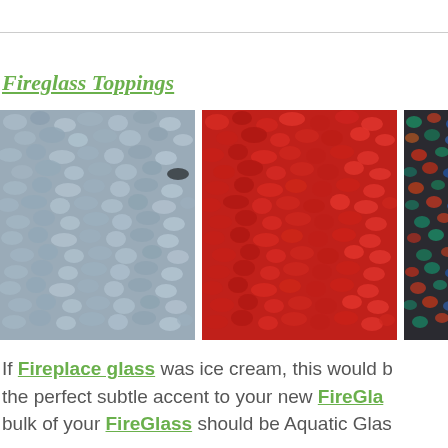Fireglass Toppings
[Figure (photo): Three side-by-side photos of decorative fire glass aggregates: left shows blue/grey glass pebbles, center shows red glass pieces, right shows a partial view of multi-colored glass mix.]
If Fireplace glass was ice cream, this would b... the perfect subtle accent to your new FireGla... bulk of your FireGlass should be Aquatic Glas...